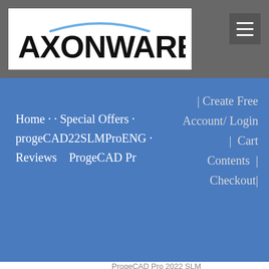[Figure (logo): Axonware logo: stylized arc above bold AXONWARE text in black]
[Figure (other): Hamburger menu icon (three horizontal lines) on dark grey square background]
Home • · Special Offers · progeCAD22SLMProENG · Reviews   ProgeCAD Pr
| Create Free Account/ Login  |  Cart Contents  |  Checkout|
ProgeCAD Pro 2022 SLM
NEW VERSION- Perpetual
[progeCAD22SLMProENG]
by Thorvald Johannes Pedersen
Date Added: Thursday 04 April, 2019